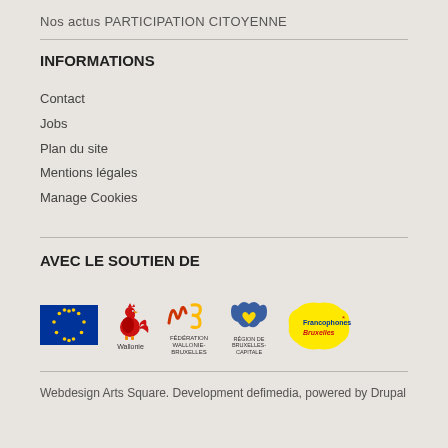Nos actus PARTICIPATION CITOYENNE
INFORMATIONS
Contact
Jobs
Plan du site
Mentions légales
Manage Cookies
AVEC LE SOUTIEN DE
[Figure (logo): Logos of supporting organizations: EU flag, Wallonie (rooster), Fédération Wallonie-Bruxelles, Région de Bruxelles-Capitale, Francophones Bruxelles]
Webdesign Arts Square. Development defimedia, powered by Drupal